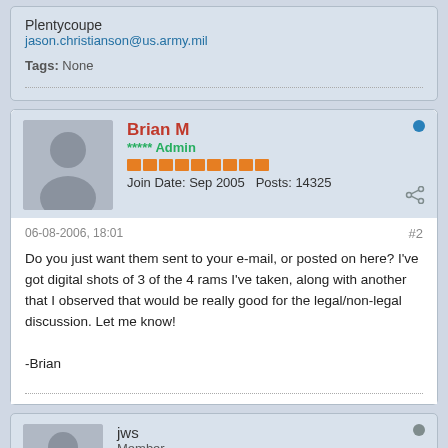Plentycoupe
jason.christianson@us.army.mil
Tags: None
Brian M
***** Admin
Join Date: Sep 2005  Posts: 14325
06-08-2006, 18:01  #2
Do you just want them sent to your e-mail, or posted on here? I've got digital shots of 3 of the 4 rams I've taken, along with another that I observed that would be really good for the legal/non-legal discussion. Let me know!
-Brian
jws
Member